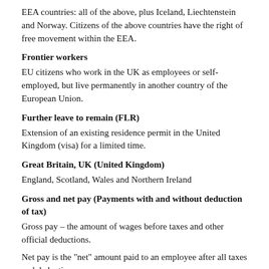EEA countries: all of the above, plus Iceland, Liechtenstein and Norway. Citizens of the above countries have the right of free movement within the EEA.
Frontier workers
EU citizens who work in the UK as employees or self-employed, but live permanently in another country of the European Union.
Further leave to remain (FLR)
Extension of an existing residence permit in the United Kingdom (visa) for a limited time.
Great Britain, UK (United Kingdom)
England, Scotland, Wales and Northern Ireland
Gross and net pay (Payments with and without deduction of tax)
Gross pay – the amount of wages before taxes and other official deductions.
Net pay is the "net" amount paid to an employee after all taxes and deductions.